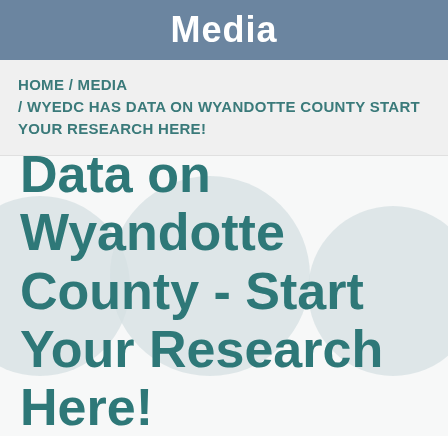Media
HOME / MEDIA / WYEDC HAS DATA ON WYANDOTTE COUNTY START YOUR RESEARCH HERE!
WYEDC Has Data on Wyandotte County - Start Your Research Here!